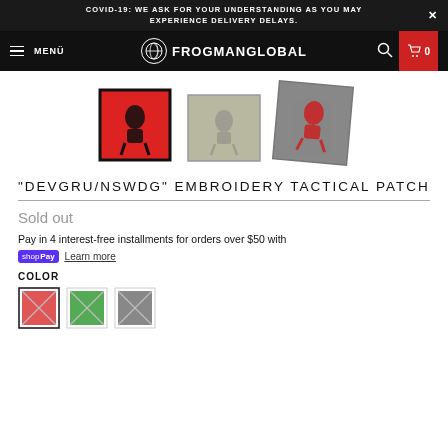COVID-19: WE ASK FOR YOUR UNDERSTANDING AS YOU MAY EXPERIENCE DELIVERY DELAYS.
MENÜ FROGMANGLOBAL 0
[Figure (photo): Three tactical patches shown: one red background with black figure, one gray/tan with faded figure, one gray with red figure]
"DEVGRU/NSWDG" EMBROIDERY TACTICAL PATCH
Sold out
Pay in 4 interest-free installments for orders over $50 with shop Pay Learn more
COLOR
[Figure (illustration): Three color swatches: red with X, green with X, gray with X]